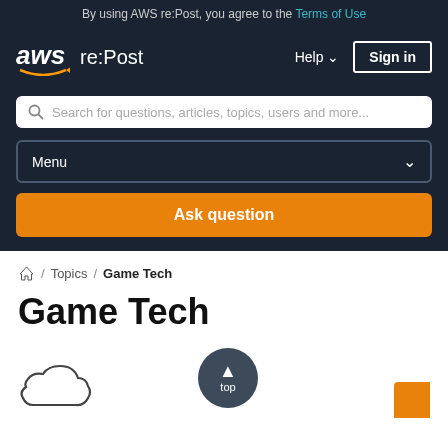By using AWS re:Post, you agree to the Terms of Use
[Figure (screenshot): AWS re:Post navigation bar with logo, Help dropdown, and Sign in button]
Search for questions, articles, topics, users and more...
Menu
Ask question
Home / Topics / Game Tech
Game Tech
[Figure (illustration): Cloud icon and circular top button with up arrow, and partial orange button in corner]